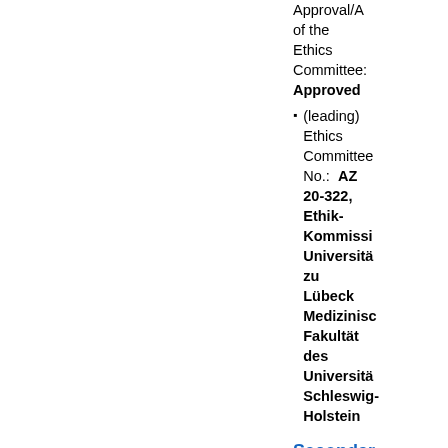Approval/A of the Ethics Committee: Approved
(leading) Ethics Committee No.: AZ 20-322, Ethik-Kommissi Universitä zu Lübeck Medizinisc Fakultät des Universitä Schleswig-Holstein
Secondary IDs
[ ]*